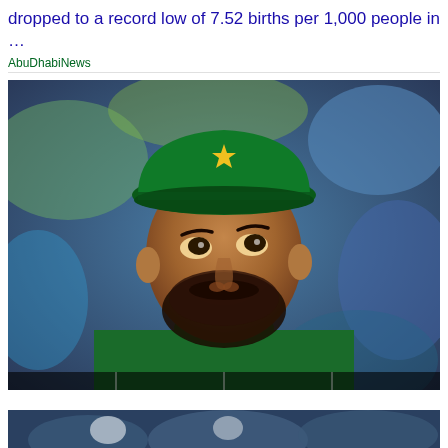dropped to a record low of 7.52 births per 1,000 people in …
AbuDhabiNews
[Figure (photo): A man wearing a green Pakistan cricket cap with a yellow star logo and green cricket shirt, looking upward with a serious expression. Blurred colorful background.]
[Figure (photo): Partial view of another image at the bottom of the page, showing figures in what appears to be sports attire.]